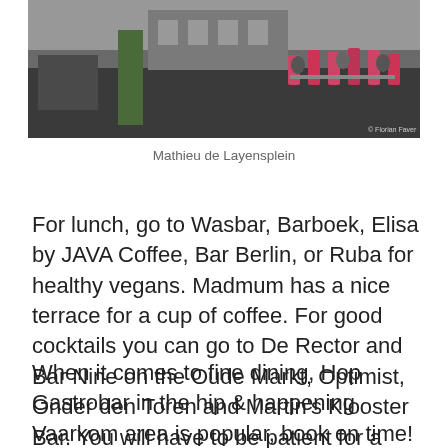[Figure (photo): Outdoor terrace/plaza scene with people sitting at pink chairs and tables, dark pavement, taken in Mathieu de Layensplein]
Mathieu de Layensplein
For lunch, go to Wasbar, Barboek, Elisa by JAVA Coffee, Bar Berlin, or Ruba for healthy vegans. Madmum has a nice terrace for a cup of coffee. For good cocktails you can go to De Rector and Bar Nine on the Oude Markt, Optimist, Onder den Toren and Martin's Klooster Bar. You will have to be patient for a spot at the bar at Bar Louis.
When it comes to fine dining, Hop Gastrobar in the hip & happening Vaarkom area is popular, book on time! The nearby Florida Food Bar is more favorably priced. Sud Sud Bistro, Bonseco (Italian) and Doffe…